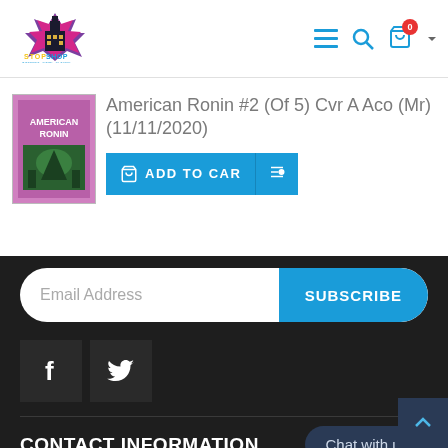Stop Shop — navigation header with logo, menu, search, cart (0 items)
[Figure (photo): Comic book cover thumbnail for American Ronin #2]
American Ronin #2 (Of 5) Cvr A Aco (Mr) (11/11/2020)
ADD TO CART
Email Address
SUBSCRIBE
[Figure (logo): Facebook icon (f)]
[Figure (logo): Twitter icon (bird)]
CONTACT INFORMATION
Chat with us
ADDRESS